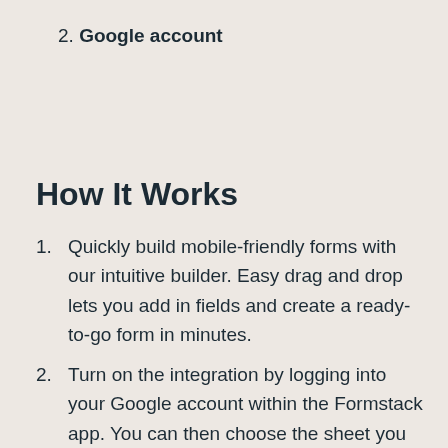2. Google account
How It Works
1. Quickly build mobile-friendly forms with our intuitive builder. Easy drag and drop lets you add in fields and create a ready-to-go form in minutes.
2. Turn on the integration by logging into your Google account within the Formstack app. You can then choose the sheet you want to populate.
3. Create and map the form fields you want to populate in Google Sheets.